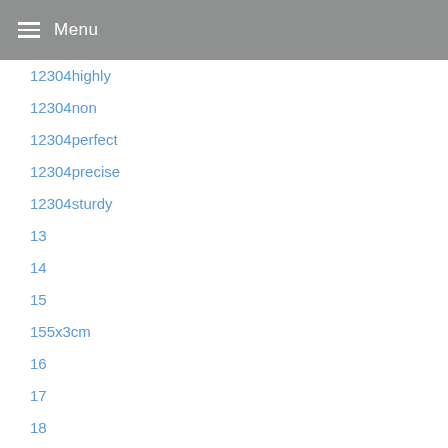Menu
12304highly
12304non
12304perfect
12304precise
12304sturdy
13
14
15
155x3cm
16
17
18
19
19x3cm
2
20
2020Elections